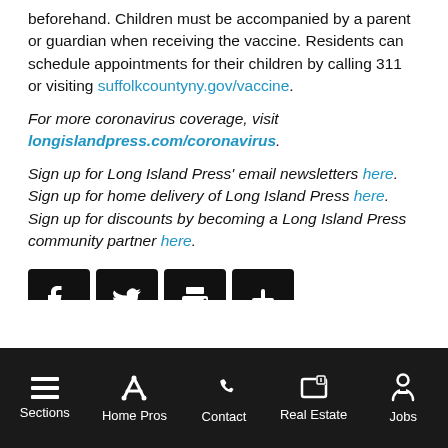beforehand. Children must be accompanied by a parent or guardian when receiving the vaccine. Residents can schedule appointments for their children by calling 311 or visiting suffolkcountyny.gov/vaccine.
For more coronavirus coverage, visit longislandpress.com/coronavirus.
Sign up for Long Island Press' email newsletters here. Sign up for home delivery of Long Island Press here. Sign up for discounts by becoming a Long Island Press community partner here.
[Figure (infographic): Social share buttons: Facebook, Twitter, Print, and a plus/more button, each as black square icons.]
Sections | Home Pros | Contact | Real Estate | Jobs